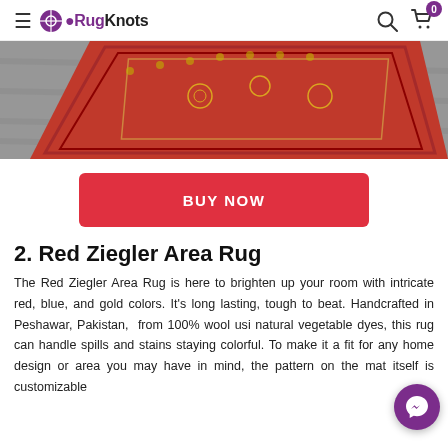RugKnots
[Figure (photo): Red Ziegler area rug with ornate border pattern laid on grey wood-look floor, photographed at an angle.]
BUY NOW
2. Red Ziegler Area Rug
The Red Ziegler Area Rug is here to brighten up your room with intricate red, blue, and gold colors. It's long lasting, tough to beat. Handcrafted in Peshawar, Pakistan, from 100% wool using natural vegetable dyes, this rug can handle spills and stains while staying colorful. To make it a fit for any home design or area you may have in mind, the pattern on the mat itself is customizable